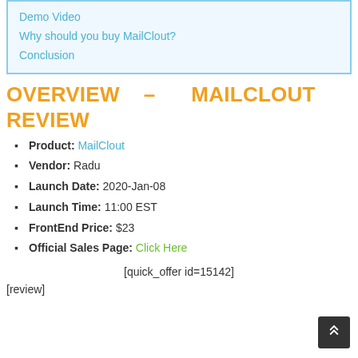Demo Video
Why should you buy MailClout?
Conclusion
OVERVIEW – MAILCLOUT REVIEW
Product: MailClout
Vendor: Radu
Launch Date: 2020-Jan-08
Launch Time: 11:00 EST
FrontEnd Price: $23
Official Sales Page: Click Here
[quick_offer id=15142]
[review]